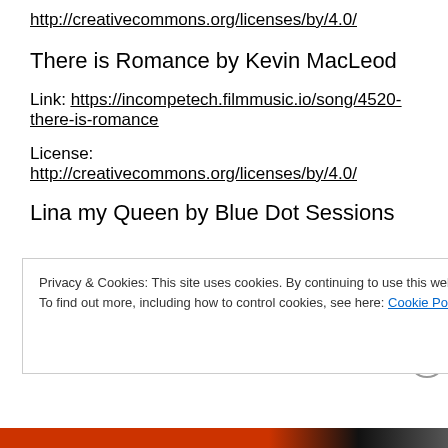http://creativecommons.org/licenses/by/4.0/
There is Romance by Kevin MacLeod
Link: https://incompetech.filmmusic.io/song/4520-there-is-romance
License:
http://creativecommons.org/licenses/by/4.0/
Lina my Queen by Blue Dot Sessions
Privacy & Cookies: This site uses cookies. By continuing to use this website, you agree to their use.
To find out more, including how to control cookies, see here: Cookie Policy
Close and accept